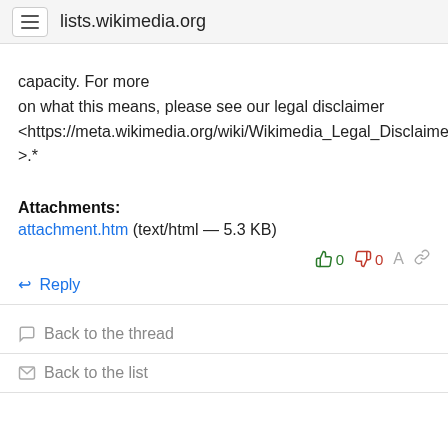lists.wikimedia.org
capacity. For more
on what this means, please see our legal disclaimer
<https://meta.wikimedia.org/wiki/Wikimedia_Legal_Disclaimer
>.*
Attachments:
attachment.htm (text/html — 5.3 KB)
↩ Reply
Back to the thread
Back to the list